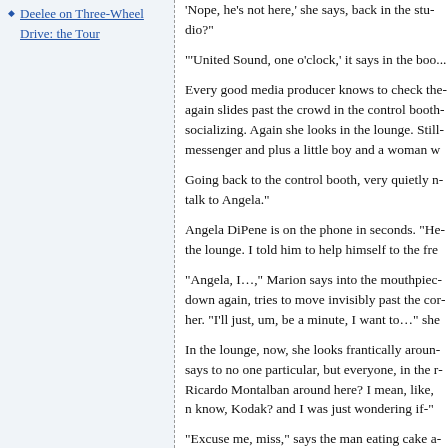Deelee on Three-Wheel Drive: the Tour
'Nope, he's not here,' she says, back in the studio?
'United Sound, one o'clock,' it says in the bo...
Every good media producer knows to check the... again slides past the crowd in the control booth... socializing. Again she looks in the lounge. Still... messenger and plus a little boy and a woman w...
Going back to the control booth, very quietly... talk to Angela.
Angela DiPene is on the phone in seconds. 'He... the lounge. I told him to help himself to the fre...
'Angela, I…,' Marion says into the mouthpiec... down again, tries to move invisibly past the cor... her. 'I'll just, um, be a minute, I want to…' sh...
In the lounge, now, she looks frantically aroun... says to no one particular, but everyone, in the r... Ricardo Montalban around here? I mean, like, ... know, Kodak? and I was just wondering if-
'Excuse me, miss,' says the man eating cake a... Ricardo is my brother.
Marion always said that whatever would have b... was in hurtled into the Grand Canyon couldn't... was even before she started pre-living the mom...